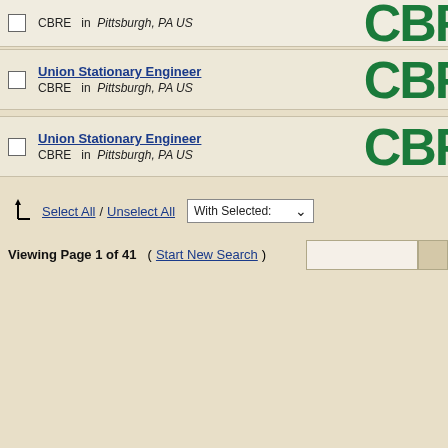CBRE in Pittsburgh, PA US
Union Stationary Engineer — CBRE in Pittsburgh, PA US
Union Stationary Engineer — CBRE in Pittsburgh, PA US
Select All / Unselect All   With Selected:
Viewing Page 1 of 41   (Start New Search)